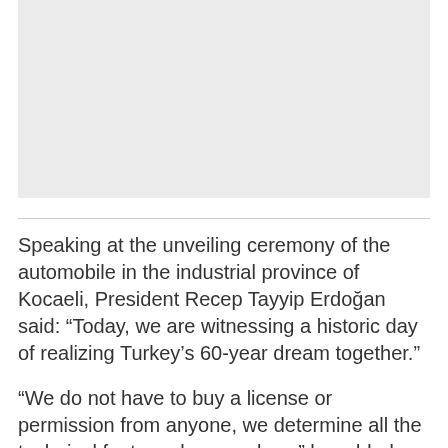[Figure (photo): Image placeholder area (light gray rectangle)]
Speaking at the unveiling ceremony of the automobile in the industrial province of Kocaeli, President Recep Tayyip Erdoğan said: “Today, we are witnessing a historic day of realizing Turkey’s 60-year dream together.”
“We do not have to buy a license or permission from anyone, we determine all the technical features by ourselves,” he added, highlighting the role of 100 Turkish engineers working on this project.